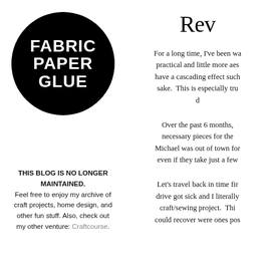[Figure (logo): Black circle logo with white text reading FABRIC PAPER GLUE stacked in three lines]
THIS BLOG IS NO LONGER MAINTAINED. Feel free to enjoy my archive of craft projects, home design, and other fun stuff. Also, check out my other venture: Craftcourse.
Rev
For a long time, I've been wa practical and little more aes have a cascading effect such sake. This is especially tru d
Over the past 6 months, necessary pieces for the Michael was out of town for even if they take just a few
Let's travel back in time fir drive got sick and I literally craft/sewing project. Thi could recover were ones pos